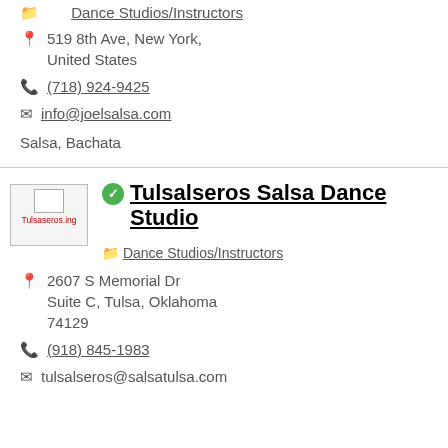Dance Studios/Instructors
519 8th Ave, New York, United States
(718) 924-9425
info@joelsalsa.com
Salsa, Bachata
Tulsalseros Salsa Dance Studio
Dance Studios/Instructors
2607 S Memorial Dr Suite C, Tulsa, Oklahoma 74129
(918) 845-1983
tulsalseros@salsatulsa.com